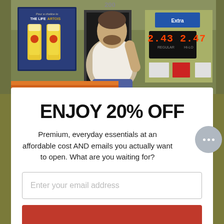[Figure (photo): A man in a white t-shirt standing outside a bar/store with a Stella Artois beer poster on the left, neon price signs on the right, orange vehicle hood at the bottom]
ENJOY 20% OFF
Premium, everyday essentials at an affordable cost AND emails you actually want to open. What are you waiting for?
Enter your email address